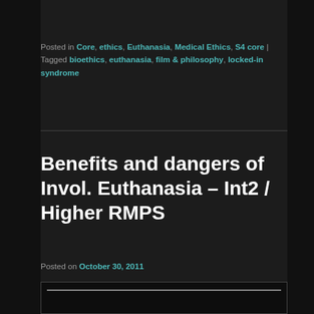Posted in Core, ethics, Euthanasia, Medical Ethics, S4 core | Tagged bioethics, euthanasia, film & philosophy, locked-in syndrome
Benefits and dangers of Invol. Euthanasia – Int2 / Higher RMPS
Posted on October 30, 2011
[Figure (other): Preview box / embedded content area with a horizontal line at the top, dark background]